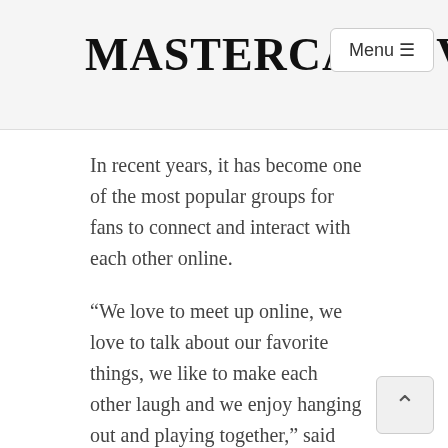MASTERCARD VISA
In recent years, it has become one of the most popular groups for fans to connect and interact with each other online.
“We love to meet up online, we love to talk about our favorite things, we like to make each other laugh and we enjoy hanging out and playing together,” said Amanda, a furry on Reddit.
That love of sharing and being together has allowed the furry community to become more mainstream and mainstreaming